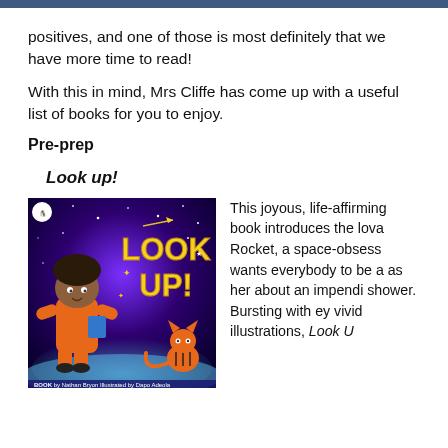positives, and one of those is most definitely that we have more time to read!
With this in mind, Mrs Cliffe has come up with a useful list of books for you to enjoy.
Pre-prep
Look up!
[Figure (photo): Book cover of 'Look Up!' by Nathan Bryon, illustrated by Dapo Adeola. Purple/blue space background with a child character in an orange space suit and a striped cat.]
This joyous, life-affirming book introduces the lova Rocket, a space-obsess wants everybody to be a as her about an impendi shower. Bursting with ey vivid illustrations, Look U